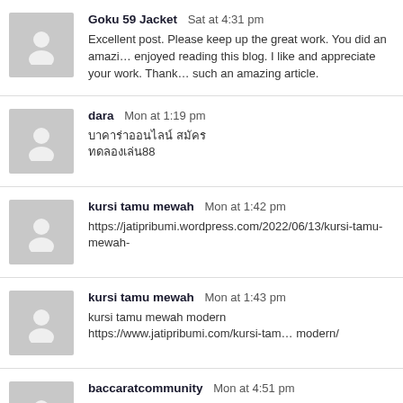Goku 59 Jacket   Sat at 4:31 pm
Excellent post. Please keep up the great work. You did an amazing job. I enjoyed reading this blog. I like and appreciate your work. Thank you for such an amazing article.
dara   Mon at 1:19 pm
บาคาร่าออนไลน์ สมัคร
ทดลองเล่น88
kursi tamu mewah   Mon at 1:42 pm
https://jatipribumi.wordpress.com/2022/06/13/kursi-tamu-mewah-
kursi tamu mewah   Mon at 1:43 pm
kursi tamu mewah modern https://www.jatipribumi.com/kursi-tamu-mewah-modern/
baccaratcommunity   Mon at 4:51 pm